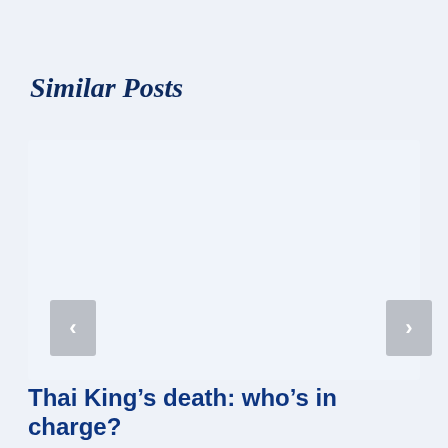Similar Posts
[Figure (other): Empty card/image placeholder for a blog post thumbnail]
Thai King’s death: who’s in charge?